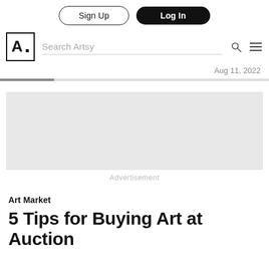Sign Up | Log In
[Figure (logo): Artsy logo — letter A in a square box, with Search Artsy input field, search icon and hamburger menu icon]
Aug 11, 2022
[Figure (other): Horizontal progress bar, partially filled in dark gray]
[Figure (other): Gray advertisement placeholder rectangle]
Advertisement
Art Market
5 Tips for Buying Art at Auction